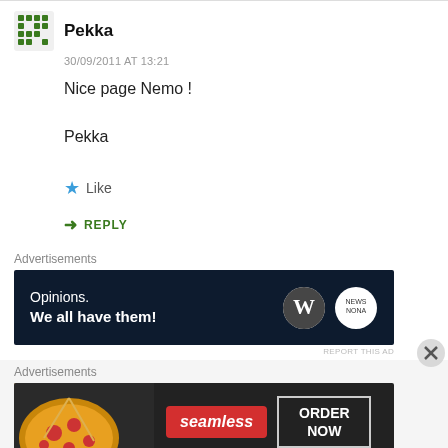Pekka
30/09/2011 AT 13:21
Nice page Nemo !

Pekka
Like
REPLY
Advertisements
[Figure (other): WordPress.com advertisement banner: 'Opinions. We all have them!' with WordPress and news logo]
Advertisements
[Figure (other): Seamless food delivery advertisement with pizza image, Seamless logo, and 'ORDER NOW' button]